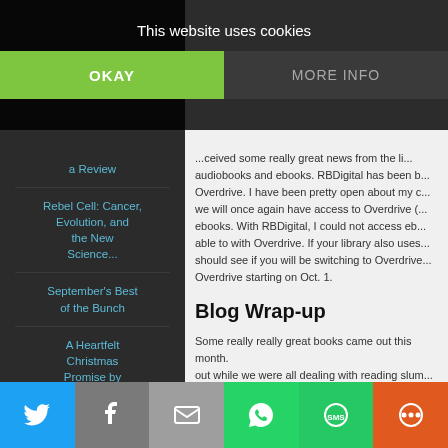This website uses cookies
OKAY
MORE INFO
a Review
Rebel Cell: Cancer, Evolution, and the New Science...
September's Best of the Bunch
A Heartfelt Christmas Promise by Nancy Naigle ~ a ...
Looking for Something in Women's...
...ceived some really great news from the li... audiobooks and ebooks. RBDigital has been b... Overdrive. I have been pretty open about my c... we will once again have access to Overdrive (... ebooks. With RBDigital, I could not access eb... able to with Overdrive. If your library also uses... should see if you will be switching to Overdrive... Overdrive starting on Oct. 1.
Blog Wrap-up
Some really great books came out this month. out while we were all dealing with reading slum... you found something great to read. Be sure to
Susan's review of The Doctor of Aleppo